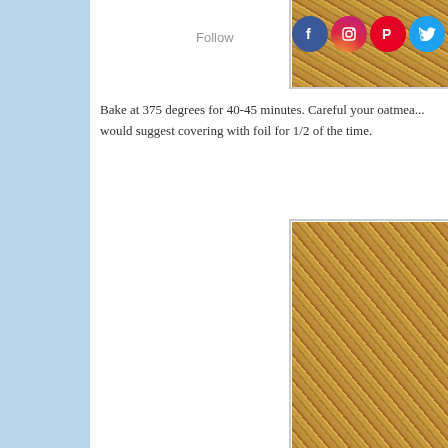[Figure (photo): Close-up photo of granola/oatmeal mixture with oats, nuts at top of page with social media icons overlaid]
Follow
Bake at 375 degrees for 40-45 minutes. Careful your oatmea... would suggest covering with foil for 1/2 of the time.
[Figure (photo): Close-up photo of baked granola/oatmeal mixture with oats and nuts]
Serve right away with vanilla ice cream or whipped cream. family still loves it the next day anyway. I plan to experime... a granola and see if that helps.